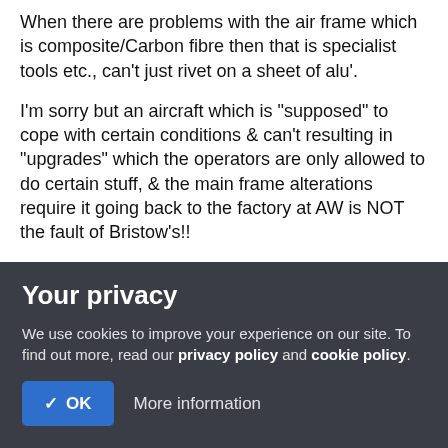When there are problems with the air frame which is composite/Carbon fibre then that is specialist tools etc., can't just rivet on a sheet of alu'.
I'm sorry but an aircraft which is "supposed" to cope with certain conditions & can't resulting in "upgrades" which the operators are only allowed to do certain stuff, & the main frame alterations require it going back to the factory at AW is NOT the fault of Bristow's!!
Like any aircraft/car/truck fleet company, they buy a product based on specs & info from maker, they make sure that their
Your privacy
We use cookies to improve your experience on our site. To find out more, read our privacy policy and cookie policy.
✓ OK   More information